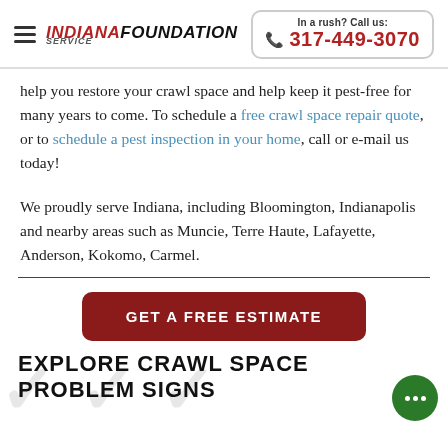INDIANA FOUNDATION SERVICE | In a rush? Call us: 317-449-3070
help you restore your crawl space and help keep it pest-free for many years to come. To schedule a free crawl space repair quote, or to schedule a pest inspection in your home, call or e-mail us today!
We proudly serve Indiana, including Bloomington, Indianapolis and nearby areas such as Muncie, Terre Haute, Lafayette, Anderson, Kokomo, Carmel.
GET A FREE ESTIMATE
EXPLORE CRAWL SPACE PROBLEM SIGNS